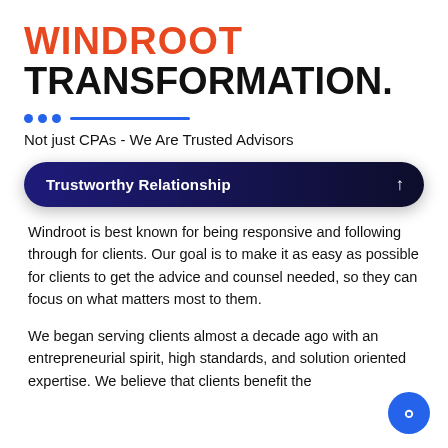WINDROOT
TRANSFORMATION.
Not just CPAs - We Are Trusted Advisors
Trustworthy Relationship
Windroot is best known for being responsive and following through for clients. Our goal is to make it as easy as possible for clients to get the advice and counsel needed, so they can focus on what matters most to them.
We began serving clients almost a decade ago with an entrepreneurial spirit, high standards, and solution oriented expertise. We believe that clients benefit the